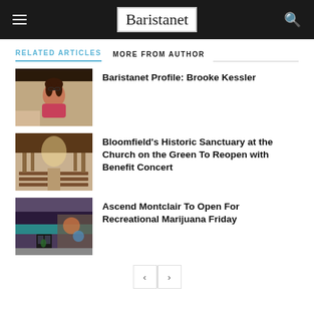Baristanet
RELATED ARTICLES   MORE FROM AUTHOR
[Figure (photo): Photo of a woman with glasses sitting indoors]
Baristanet Profile: Brooke Kessler
[Figure (photo): Interior of a historic church sanctuary with pews and arched ceiling]
Bloomfield’s Historic Sanctuary at the Church on the Green To Reopen with Benefit Concert
[Figure (photo): Exterior of Ascend Montclair storefront with mural]
Ascend Montclair To Open For Recreational Marijuana Friday